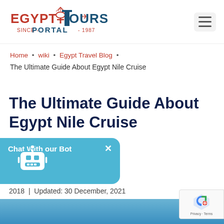[Figure (logo): Egypt Tours Portal logo — stylized text EGYPT TOURS with ankh cross icon and airplane, subtitle SINCE PORTAL 1987 in red and blue]
Home • wiki • Egypt Travel Blog •
The Ultimate Guide About Egypt Nile Cruise
The Ultimate Guide About Egypt Nile Cruise
Published: 20 September, 2018 | Updated: 30 December, 2021
[Figure (screenshot): Chat With our Bot widget in teal/blue with X close button and robot icon]
[Figure (other): Google reCAPTCHA badge bottom right]
[Figure (photo): Blue sky/water image strip at page bottom]